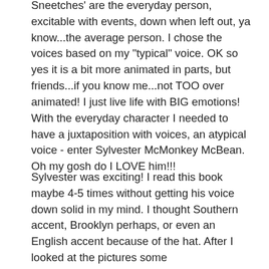Sneetches' are the everyday person, excitable with events, down when left out, ya know...the average person. I chose the voices based on my "typical" voice. OK so yes it is a bit more animated in parts, but friends...if you know me...not TOO over animated! I just live life with BIG emotions! With the everyday character I needed to have a juxtaposition with voices, an atypical voice - enter Sylvester McMonkey McBean. Oh my gosh do I LOVE him!!!
Sylvester was exciting! I read this book maybe 4-5 times without getting his voice down solid in my mind. I thought Southern accent, Brooklyn perhaps, or even an English accent because of the hat. After I looked at the pictures some